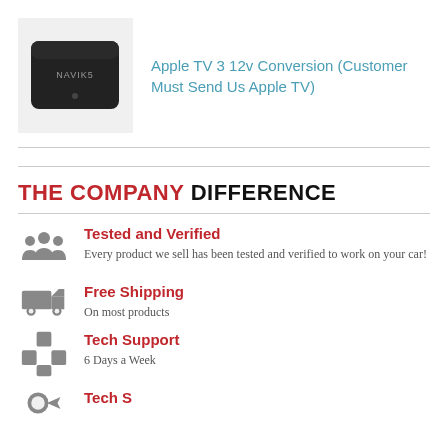[Figure (photo): Black Apple TV 3 device with NAVIK5 label on top, shown on white background]
Apple TV 3 12v Conversion (Customer Must Send Us Apple TV)
THE COMPANY DIFFERENCE
Tested and Verified — Every product we sell has been tested and verified to work on your car!
Free Shipping — On most products
Tech Support — 6 Days a Week
Tech Support (continued)